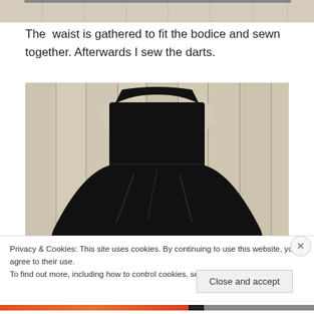[Figure (photo): Partial top of a photo showing a light wood floor background — cropped at the top of the page]
The  waist is gathered to fit the bodice and sewn together. Afterwards I sew the darts.
[Figure (photo): A black sleeveless dress laid flat on a light wood floor, showing the bodice and gathered skirt]
Privacy & Cookies: This site uses cookies. By continuing to use this website, you agree to their use.
To find out more, including how to control cookies, see here: Cookie Policy
Close and accept